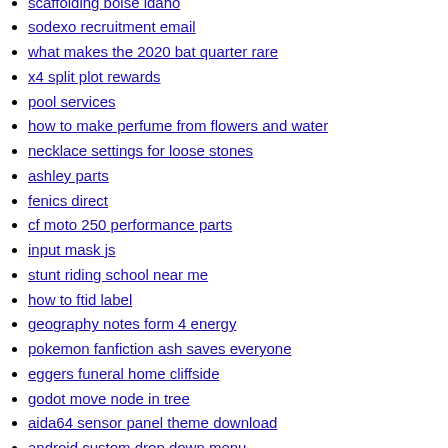scaffolding boise idaho
sodexo recruitment email
what makes the 2020 bat quarter rare
x4 split plot rewards
pool services
how to make perfume from flowers and water
necklace settings for loose stones
ashley parts
fenics direct
cf moto 250 performance parts
input mask js
stunt riding school near me
how to ftid label
geography notes form 4 energy
pokemon fanfiction ash saves everyone
eggers funeral home cliffside
godot move node in tree
aida64 sensor panel theme download
android custom drop down menu
coldwell banker long island
gkn wheels
yoni me hone wali bimari
bucket seats with harness
ceres fauna real face reveal
t1 miner firmware
rise lyrics